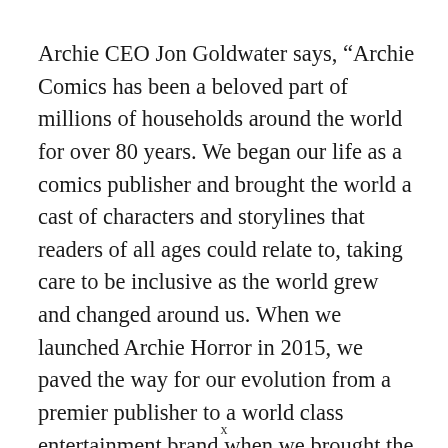Archie CEO Jon Goldwater says, “Archie Comics has been a beloved part of millions of households around the world for over 80 years. We began our life as a comics publisher and brought the world a cast of characters and storylines that readers of all ages could relate to, taking care to be inclusive as the world grew and changed around us. When we launched Archie Horror in 2015, we paved the way for our evolution from a premier publisher to a world class entertainment brand when we brought the world to Riverdale through six seasons so far. As we watched the emergence of this exciting new technology, and a new fandom growing around it, we knew we had to
x